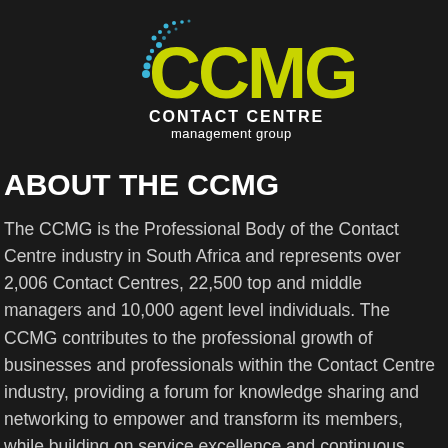[Figure (logo): CCMG Contact Centre Management Group logo — yellow-green CCMG letters with blue dot pattern, white text CONTACT CENTRE management group]
ABOUT THE CCMG
The CCMG is the Professional Body of the Contact Centre industry in South Africa and represents over 2,006 Contact Centres, 22,500 top and middle managers and 10,000 agent level individuals. The CCMG contributes to the professional growth of businesses and professionals within the Contact Centre industry, providing a forum for knowledge sharing and networking to empower and transform its members, while building on service excellence and continuous